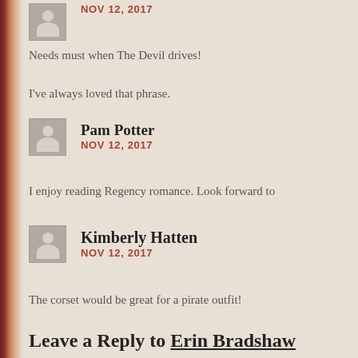NOV 12, 2017
Needs must when The Devil drives!
I've always loved that phrase.
Pam Potter
NOV 12, 2017
I enjoy reading Regency romance. Look forward to
Kimberly Hatten
NOV 12, 2017
The corset would be great for a pirate outfit!
Leave a Reply to Erin Bradshaw
Cancel reply
Your email address will not be published. Required